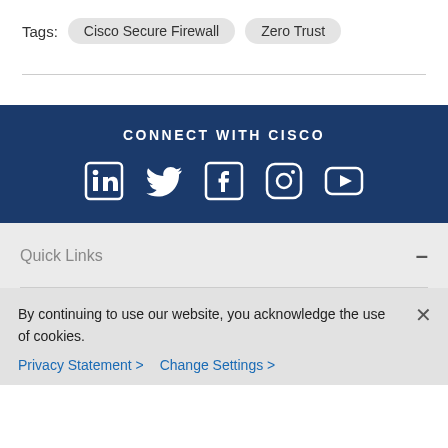Tags: Cisco Secure Firewall  Zero Trust
[Figure (infographic): CONNECT WITH CISCO banner with LinkedIn, Twitter, Facebook, Instagram, YouTube social media icons in white on dark navy background]
Quick Links —
By continuing to use our website, you acknowledge the use of cookies.
Privacy Statement >  Change Settings >